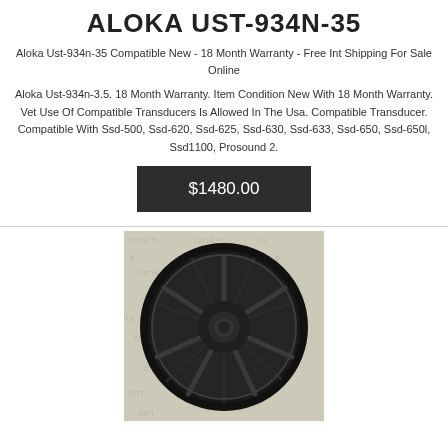ALOKA UST-934N-35
Aloka Ust-934n-35 Compatible New - 18 Month Warranty - Free Int Shipping For Sale Online
Aloka Ust-934n-3.5. 18 Month Warranty. Item Condition New With 18 Month Warranty. Vet Use Of Compatible Transducers Is Allowed In The Usa. Compatible Transducer. Compatible With Ssd-500, Ssd-620, Ssd-625, Ssd-630, Ssd-633, Ssd-650, Ssd-650l, Ssd1100, Prosound 2.
$1480.00
[Figure (photo): A black alloy wheel/rim displayed on a grey and white branded background with CITTA logo pattern.]